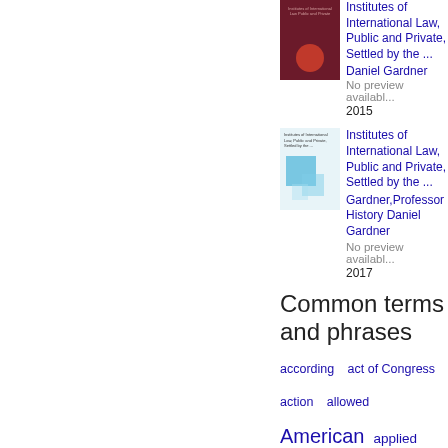[Figure (photo): Book cover of 'Institutes of International Law, Public and Private, Settled by the ...' - dark red/maroon cover with circular emblem]
Institutes of International Law, Public and Private, Settled by the ...
Daniel Gardner
No preview available
2015
[Figure (photo): Book cover with blue/teal geometric square pattern on white background]
Institutes of International Law, Public and Private, Settled by the ...
Gardner,Professor History Daniel Gardner
No preview available
2017
Common terms and phrases
according
act of Congress
action
allowed
American
applied